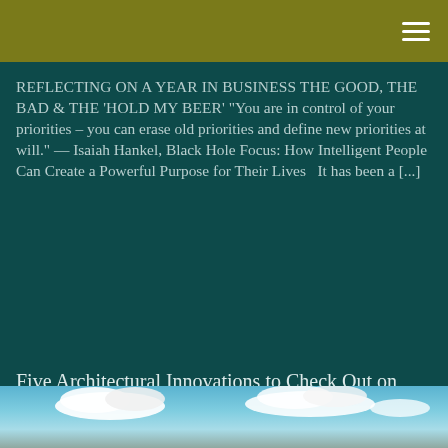REFLECTING ON A YEAR IN BUSINESS THE GOOD, THE BAD & THE 'HOLD MY BEER' "You are in control of your priorities – you can erase old priorities and define new priorities at will." — Isaiah Hankel, Black Hole Focus: How Intelligent People Can Create a Powerful Purpose for Their Lives   It has been a [...]
Five Architectural Innovations to Check Out on your Next Pacific Northwest Road Trip
[Figure (photo): Blue sky with white clouds, partial view of a landscape/architectural subject]